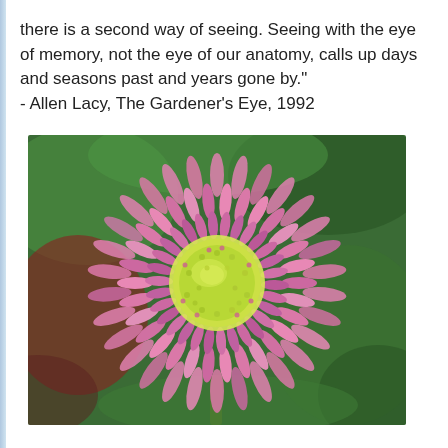there is a second way of seeing. Seeing with the eye of memory, not the eye of our anatomy, calls up days and seasons past and years gone by." - Allen Lacy, The Gardener's Eye, 1992
[Figure (photo): Close-up photograph of a pink daisy-like flower (bellis perennis / English daisy) with dense pink petals and a yellow-green center, against a blurred green and red background.]